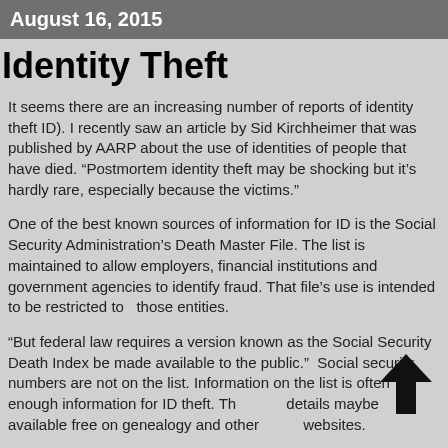August 16, 2015
Identity Theft
It seems there are an increasing number of reports of identity theft ID).  I recently saw an article by Sid Kirchheimer that was published by AARP about the use of identities of people that have died.  “Postmortem identity theft may be shocking but it’s hardly rare, especially because the victims.”
One of the best known sources of information for ID is the Social Security Administration’s Death Master File.  The list is maintained to allow employers, financial institutions and government agencies to identify fraud.  That file’s use is intended to be restricted to  those entities.
“But federal law requires a version known as the Social Security Death Index be made available to the public.”  Social security numbers are not on the list.  Information on the list is often enough information for ID theft.  The details maybe available free on genealogy and other websites.